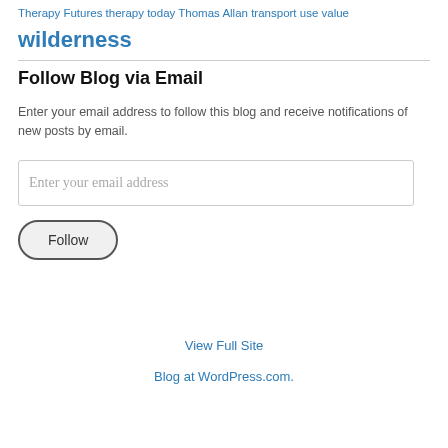Therapy Futures therapy today Thomas Allan transport use value wilderness
Follow Blog via Email
Enter your email address to follow this blog and receive notifications of new posts by email.
Enter your email address
Follow
View Full Site
Blog at WordPress.com.